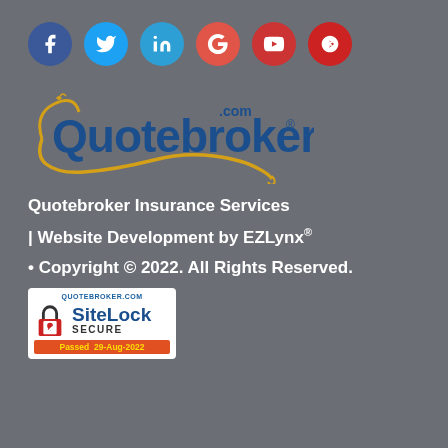[Figure (other): Row of 6 social media icons: Facebook (dark blue circle), Twitter (light blue circle), LinkedIn (blue circle), Google (red circle), YouTube (red circle), Yelp (red circle)]
[Figure (logo): Quotebroker.com logo with stylized Q in gold and blue text, gold swoosh underline, registered trademark symbol]
Quotebroker Insurance Services
| Website Development by EZLynx®
• Copyright © 2022. All Rights Reserved.
[Figure (other): SiteLock Secure badge with QUOTEBROKER.COM text, lock icon, SiteLock SECURE branding, and Passed 29-Aug-2022 label in orange-red and yellow]